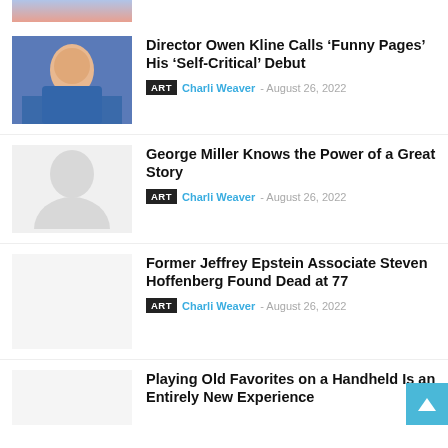[Figure (photo): Partial thumbnail image at top of page, cropped]
Director Owen Kline Calls ‘Funny Pages’ His ‘Self-Critical’ Debut
ART  Charli Weaver - August 26, 2022
[Figure (photo): Gray silhouette placeholder image]
George Miller Knows the Power of a Great Story
ART  Charli Weaver - August 26, 2022
[Figure (photo): Gray placeholder image]
Former Jeffrey Epstein Associate Steven Hoffenberg Found Dead at 77
ART  Charli Weaver - August 26, 2022
[Figure (photo): Gray placeholder image, partial]
Playing Old Favorites on a Handheld Is an Entirely New Experience